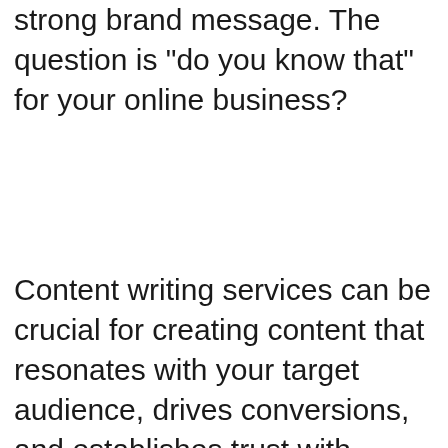strong brand message. The question is “do you know that” for your online business?
Content writing services can be crucial for creating content that resonates with your target audience, drives conversions, and establishes trust with potential customers.
[Figure (screenshot): Advertisement banner showing 'Just $2 can protect 1 acre of irreplaceable' text over a dark background image, overlaid with a second ad showing a woman with papers and the text 'A flexible canvas wit... all the tools you need to start collaborative brainstorm sessions.' with navigation arrows.]
Ad